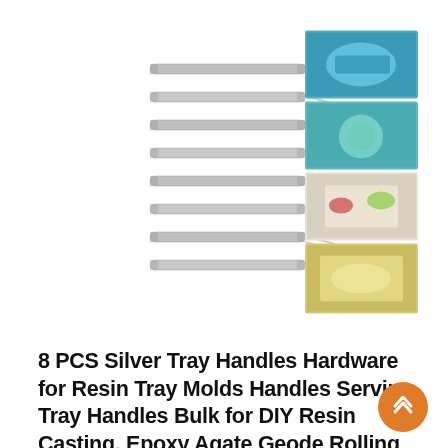[Figure (photo): Product photo of 8 silver T-bar tray handles arranged in a stacked diagonal pattern on the left, alongside a vertical collage of 4 photos on the right showing colorful resin trays and food trays.]
8 PCS Silver Tray Handles Hardware for Resin Tray Molds Handles Serving Tray Handles Bulk for DIY Resin Casting, Epoxy Agate Geode Rolling Tray Handles Replacement, Cabinet Handles, Drawer Pulls